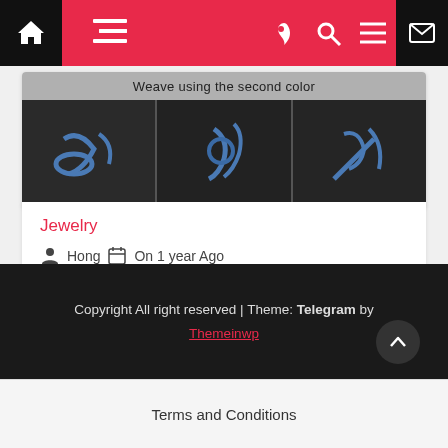[Figure (screenshot): Website navigation bar with home icon, hamburger menu on red background, moon icon, search icon, lines icon on red, and email icon on black]
[Figure (photo): Image block showing caption 'Weave using the second color' and a strip of three dark photos showing blue cord/rope weaving steps]
Jewelry
Hong  On 1 year Ago
Video Jewelry Instruction
Copyright All right reserved | Theme: Telegram by Themeinwp
Terms and Conditions